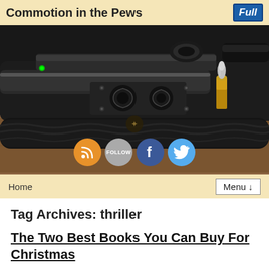Commotion in the Pews
[Figure (photo): Close-up photo of gun parts including barrel, scope mounts, and a bullet, all on a dark background, with social media icons (RSS, Follow, Facebook, Twitter) overlaid at the bottom center]
Home   Menu ↓
Tag Archives: thriller
The Two Best Books You Can Buy For Christmas